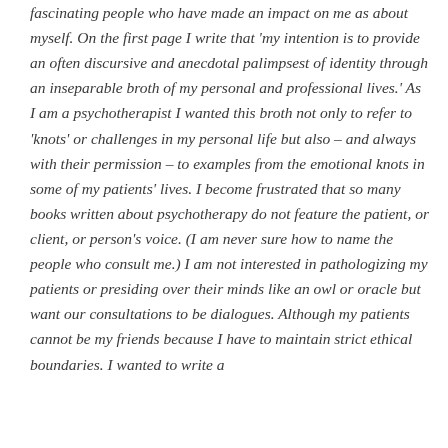fascinating people who have made an impact on me as about myself. On the first page I write that 'my intention is to provide an often discursive and anecdotal palimpsest of identity through an inseparable broth of my personal and professional lives.' As I am a psychotherapist I wanted this broth not only to refer to 'knots' or challenges in my personal life but also – and always with their permission – to examples from the emotional knots in some of my patients' lives. I become frustrated that so many books written about psychotherapy do not feature the patient, or client, or person's voice. (I am never sure how to name the people who consult me.) I am not interested in pathologizing my patients or presiding over their minds like an owl or oracle but want our consultations to be dialogues. Although my patients cannot be my friends because I have to maintain strict ethical boundaries. I wanted to write a